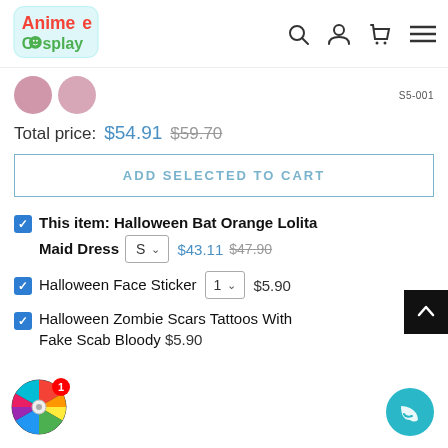[Figure (logo): Animee Cosplay colorful logo with smiley face in the 'o']
S5-001
Total price: $54.91  $59.70
ADD SELECTED TO CART
This item: Halloween Bat Orange Lolita Maid Dress  S  $43.11  $47.90
Halloween Face Sticker  1  $5.90
Halloween Zombie Scars Tattoos With Fake Scab Bloody  $5.90